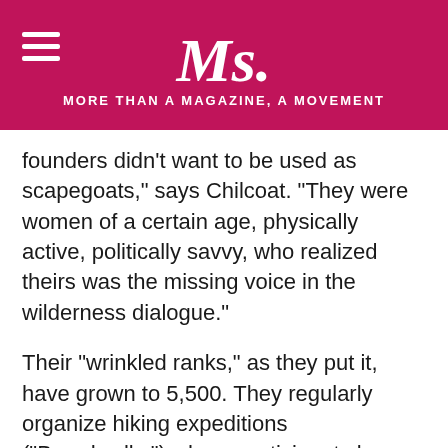Ms. MORE THAN A MAGAZINE, A MOVEMENT
founders didn’t want to be used as scapegoats,” says Chilcoat. “They were women of a certain age, physically active, politically savvy, who realized theirs was the missing voice in the wilderness dialogue.”
Their “wrinkled ranks,” as they put it, have grown to 5,500. They regularly organize hiking expeditions (“Broadwalks”) where participants learn about wilderness, do a service project and have a lot of laughs. They have 24 chapters (“Broadbands”) in 15 states, led by women who have been through Leader Bootcamp.
Last week, Egan, Chilcoat and two other delegation